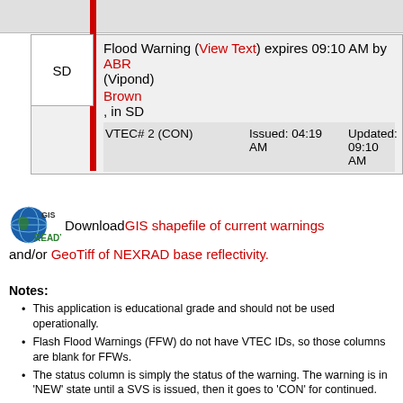| State | Warning | VTEC | Issued | Updated |
| --- | --- | --- | --- | --- |
| SD | Flood Warning (View Text) expires 09:10 AM by ABR (Vipond) Brown, in SD | VTEC# 2 (CON) | Issued: 04:19 AM | Updated: 09:10 AM |
[Figure (logo): GIS READY! globe logo]
Download GIS shapefile of current warnings and/or GeoTiff of NEXRAD base reflectivity.
Notes:
This application is educational grade and should not be used operationally.
Flash Flood Warnings (FFW) do not have VTEC IDs, so those columns are blank for FFWs.
The status column is simply the status of the warning. The warning is in 'NEW' state until a SVS is issued, then it goes to 'CON' for continued.
Warnings identified by WFO are available after 29 Aug 2004.
NEXRAD composite is available since 1 Aug 2003.